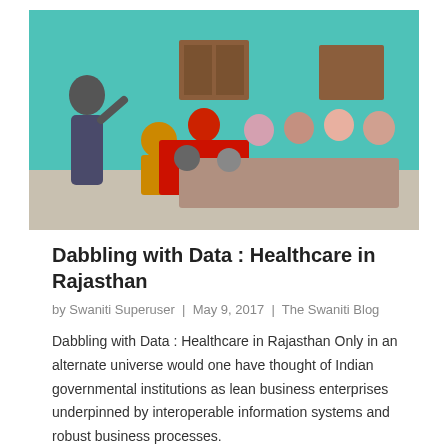[Figure (photo): A man standing and speaking to a group of people seated against a teal/green wall, appearing to be a community meeting or educational session in India.]
Dabbling with Data : Healthcare in Rajasthan
by Swaniti Superuser | May 9, 2017 | The Swaniti Blog
Dabbling with Data : Healthcare in Rajasthan Only in an alternate universe would one have thought of Indian governmental institutions as lean business enterprises underpinned by interoperable information systems and robust business processes.